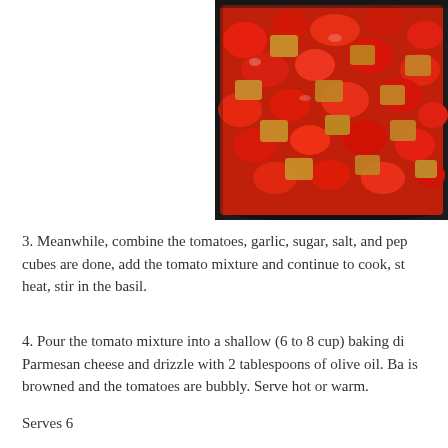[Figure (photo): A cast iron pan filled with roasted tomatoes in bright red color mixed with golden-brown bread cubes, photographed from above.]
3. Meanwhile, combine the tomatoes, garlic, sugar, salt, and pep cubes are done, add the tomato mixture and continue to cook, st heat, stir in the basil.
4. Pour the tomato mixture into a shallow (6 to 8 cup) baking di Parmesan cheese and drizzle with 2 tablespoons of olive oil. Ba is browned and the tomatoes are bubbly. Serve hot or warm.
Serves 6